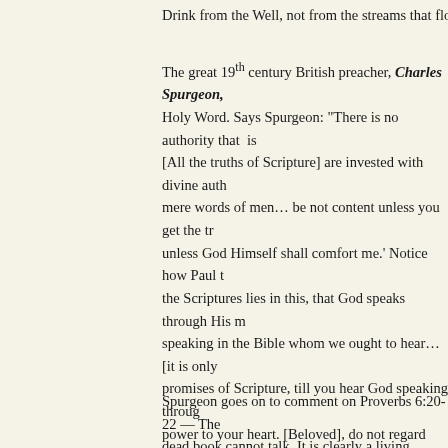Drink from the Well, not from the streams that flow from
The great 19th century British preacher, Charles Spurgeon, [text continues off page] Holy Word. Says Spurgeon: "There is no authority that is [All the truths of Scripture] are invested with divine auth mere words of men... be not content unless you get the tr unless God Himself shall comfort me.' Notice how Paul t the Scriptures lies in this, that God speaks through His m speaking in the Bible whom we ought to hear... [it is only promises of Scripture, till you hear God speaking throug power to your heart. [Beloved], do not regard anything [b word, throw it away; but if it is God's truth that I declare observation — God's Word is like 'wheat' in the hand of a took it out of his hand, and sowed it... there sprang up th application], when you take a divine promise, spoken hu magnificent power of God's Eternal Word.
Spurgeon goes on to comment on Proverbs 6:20-22 — The dead book cannot talk. It is clearly a living book... and a s